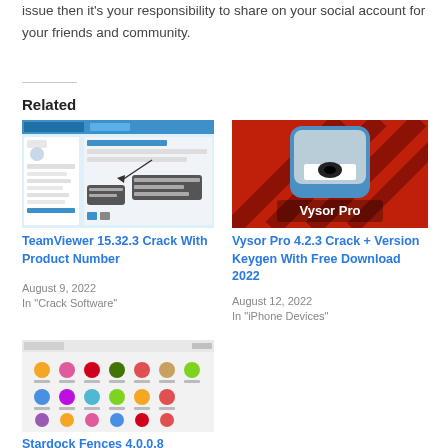issue then it's your responsibility to share on your social account for your friends and community.
Related
[Figure (screenshot): Screenshot of TeamViewer remote desktop application interface]
TeamViewer 15.32.3 Crack With Product Number
August 9, 2022
In "Crack Software"
[Figure (screenshot): Vysor Pro logo on red background with gray icon]
Vysor Pro 4.2.3 Crack + Version Keygen With Free Download 2022
August 12, 2022
In "iPhone Devices"
[Figure (screenshot): Screenshot of Stardock Fences desktop application showing icon grid]
Stardock Fences 4.0.0.8